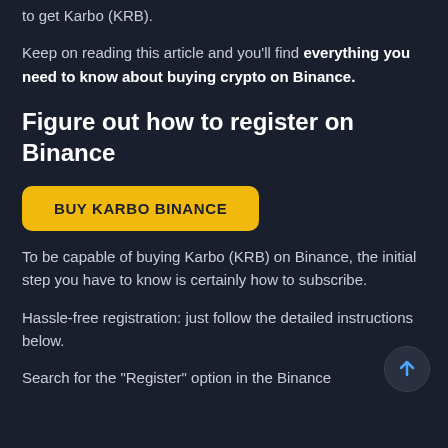to get Karbo (KRB).
Keep on reading this article and you'll find everything you need to know about buying crypto on Binance.
Figure out how to register on Binance
BUY KARBO BINANCE
To be capable of buying Karbo (KRB) on Binance, the initial step you have to know is certainly how to subscribe.
Hassle-free registration: just follow the detailed instructions below.
Search for the "Register" option in the Binance